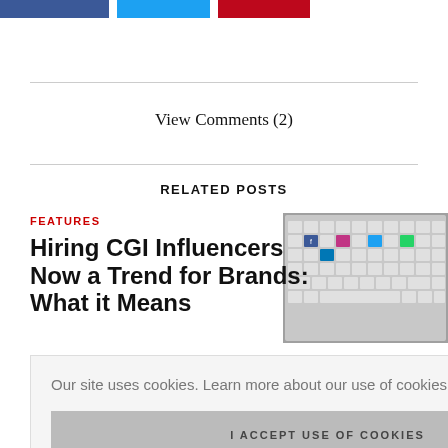[Figure (other): Social share buttons: Facebook (blue), Twitter (cyan), Pinterest (red)]
View Comments (2)
RELATED POSTS
FEATURES
[Figure (photo): Keyboard with social media icon keys including Facebook, Instagram, WhatsApp, LinkedIn]
Hiring CGI Influencers Now a Trend for Brands: What it Means
Our site uses cookies. Learn more about our use of cookies: cookie policy
I ACCEPT USE OF COOKIES
Scroll To Top
MARKETING